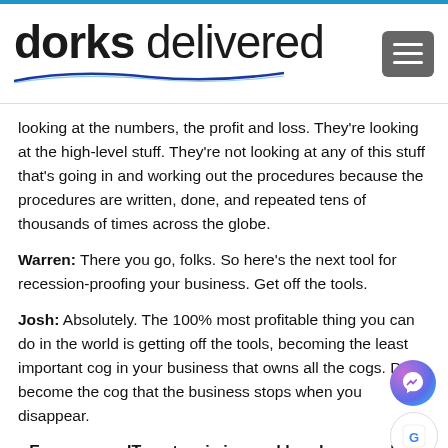[Figure (logo): Dorks Delivered logo with bold 'dorks' and regular 'delivered' text, blue curved underline, and hamburger menu icon top right]
looking at the numbers, the profit and loss. They're looking at the high-level stuff. They're not looking at any of this stuff that's going in and working out the procedures because the procedures are written, done, and repeated tens of thousands of times across the globe.
Warren: There you go, folks. So here's the next tool for recession-proofing your business. Get off the tools.
Josh: Absolutely. The 100% most profitable thing you can do in the world is getting off the tools, becoming the least important cog in your business that owns all the cogs. Don't become the cog that the business stops when you disappear.
Ensure your IT system is in good hands even when you're not. Book a free consultation with a dork and learn more about complete IT solutions for your business.
[Figure (illustration): Get Started button in teal/blue color]